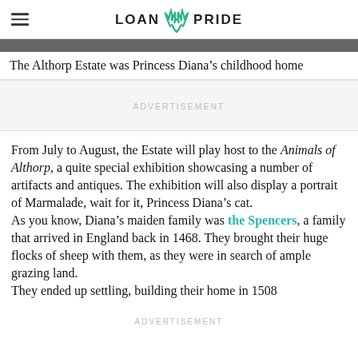LOAN PRIDE
The Althorp Estate was Princess Diana’s childhood home
ADVERTISEMENT
From July to August, the Estate will play host to the Animals of Althorp, a quite special exhibition showcasing a number of artifacts and antiques. The exhibition will also display a portrait of Marmalade, wait for it, Princess Diana’s cat.
As you know, Diana’s maiden family was the Spencers, a family that arrived in England back in 1468. They brought their huge flocks of sheep with them, as they were in search of ample grazing land.
They ended up settling, building their home in 1508
ADVERTISEMENT